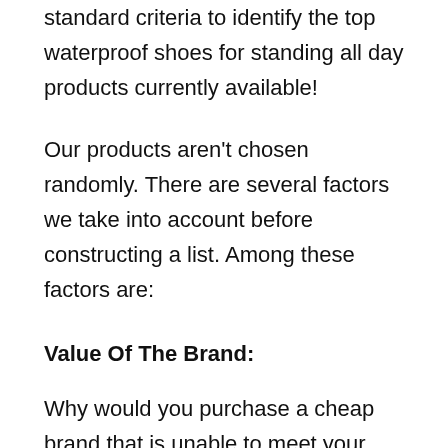standard criteria to identify the top waterproof shoes for standing all day products currently available!
Our products aren't chosen randomly. There are several factors we take into account before constructing a list. Among these factors are:
Value Of The Brand:
Why would you purchase a cheap brand that is unable to meet your expectations? There is a higher chance it won't be reliable. A renowned brand focuses more on preserving its reputation than any other.